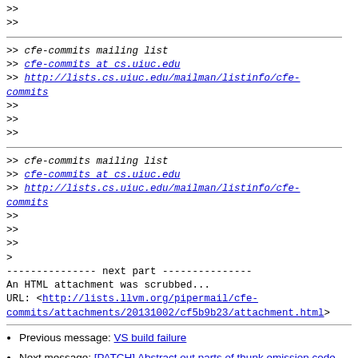>> 
>> ___
>> cfe-commits mailing list
>> cfe-commits at cs.uiuc.edu
>> http://lists.cs.uiuc.edu/mailman/listinfo/cfe-commits
>>
>>
>> ___
>> cfe-commits mailing list
>> cfe-commits at cs.uiuc.edu
>> http://lists.cs.uiuc.edu/mailman/listinfo/cfe-commits
>>
>>
>>
>
--------------- next part ---------------
An HTML attachment was scrubbed...
URL: <http://lists.llvm.org/pipermail/cfe-commits/attachments/20131002/cf5b9b23/attachment.html>
Previous message: VS build failure
Next message: [PATCH] Abstract out parts of thunk emission code, add support for simple thunks for -cxx-abi microsoft
Messages sorted by: [ date ] [ thread ] [ subject ] [ author ]